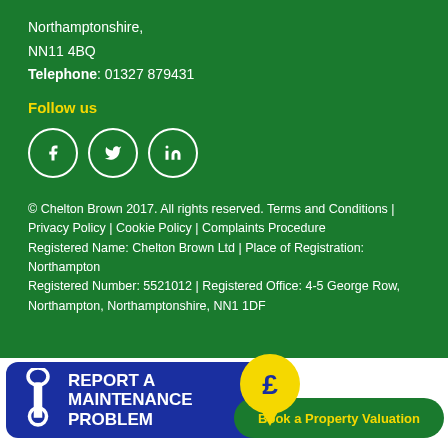Northamptonshire,
NN11 4BQ
Telephone: 01327 879431
Follow us
[Figure (illustration): Three social media icons in white circles: Facebook (f), Twitter (bird), LinkedIn (in)]
© Chelton Brown 2017. All rights reserved. Terms and Conditions | Privacy Policy | Cookie Policy | Complaints Procedure Registered Name: Chelton Brown Ltd | Place of Registration: Northampton Registered Number: 5521012 | Registered Office: 4-5 George Row, Northampton, Northamptonshire, NN1 1DF
[Figure (infographic): Blue banner with wrench icon and text REPORT A MAINTENANCE PROBLEM, overlapping pound sign speech bubble, and green rounded banner saying Book a Property Valuation]